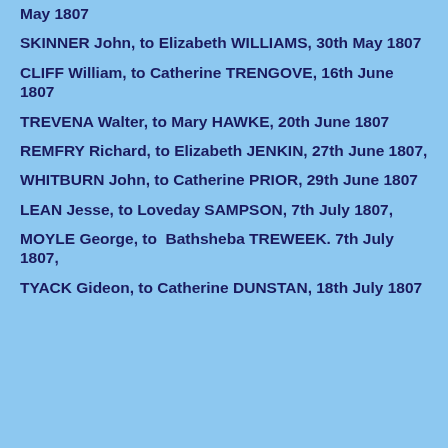May 1807
SKINNER John, to Elizabeth WILLIAMS, 30th May 1807
CLIFF William, to Catherine TRENGOVE, 16th June 1807
TREVENA Walter, to Mary HAWKE, 20th June 1807
REMFRY Richard, to Elizabeth JENKIN, 27th June 1807,
WHITBURN John, to Catherine PRIOR, 29th June 1807
LEAN Jesse, to Loveday SAMPSON, 7th July 1807,
MOYLE George, to  Bathsheba TREWEEK. 7th July 1807,
TYACK Gideon, to Catherine DUNSTAN, 18th July 1807